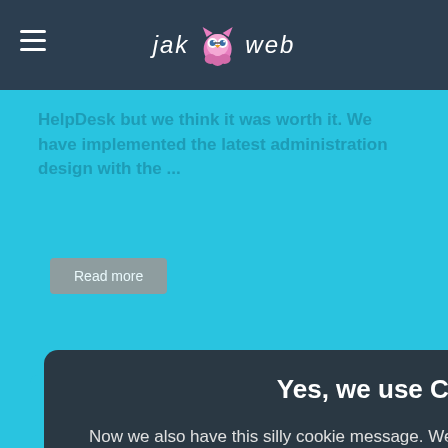jak web (logo with owl icon)
HelpDesk but we think it was worth it. We have implemented the latest administration design with the ...
Read more
Yes, we use Cookies
Now we also have this silly cookie message. We do not have any advertising on our site and we only store cookies for making the site work and for a good browsing experience.
We use cookies, just to track visits to our website, we store no personal details.
Read more in our pricacy agreement.
HelpDesk 1.3. We have implemented all the ...